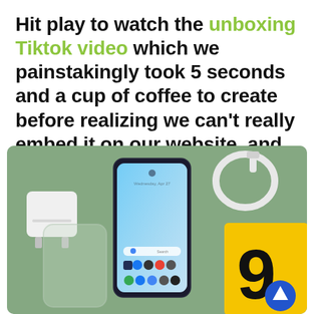Hit play to watch the unboxing Tiktok video which we painstakingly took 5 seconds and a cup of coffee to create before realizing we can't really embed it on our website, and continue reading for our hands-on review.
[Figure (photo): Flatlay photo on a sage green background showing a smartphone with Android home screen displaying 'Wednesday, Apr 27', a white phone charger/adapter, a white USB cable coiled, a transparent phone case, and a yellow product box with the number 9 partially visible. A blue circular scroll-up button is in the bottom right corner.]